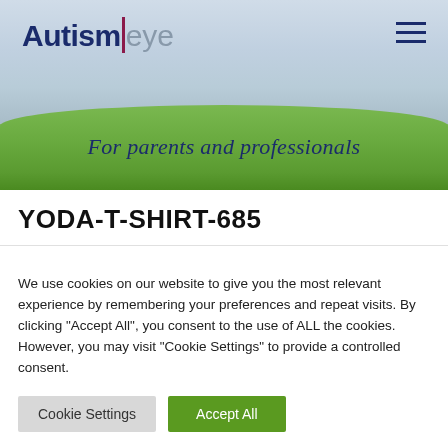[Figure (illustration): Autism Eye website header banner with sky and green grass field background, logo in top left and hamburger menu icon in top right]
YODA-T-SHIRT-685
We use cookies on our website to give you the most relevant experience by remembering your preferences and repeat visits. By clicking "Accept All", you consent to the use of ALL the cookies. However, you may visit "Cookie Settings" to provide a controlled consent.
Cookie Settings | Accept All